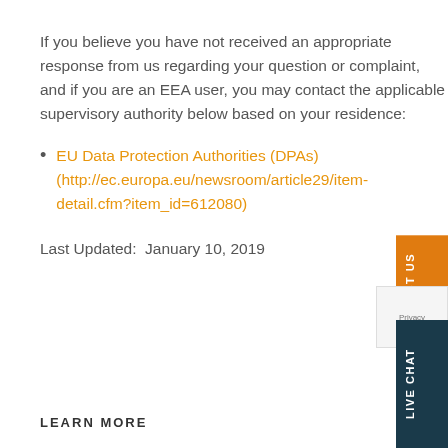If you believe you have not received an appropriate response from us regarding your question or complaint, and if you are an EEA user, you may contact the applicable supervisory authority below based on your residence:
EU Data Protection Authorities (DPAs) (http://ec.europa.eu/newsroom/article29/item-detail.cfm?item_id=612080)
Last Updated:  January 10, 2019
LEARN MORE